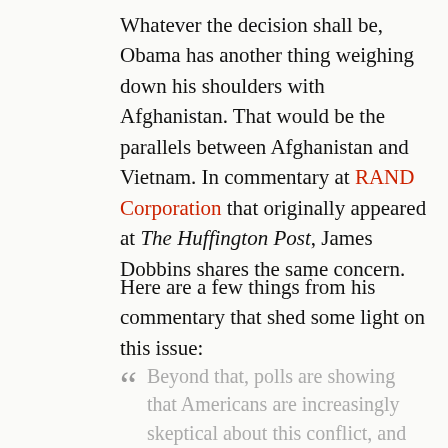Whatever the decision shall be, Obama has another thing weighing down his shoulders with Afghanistan. That would be the parallels between Afghanistan and Vietnam. In commentary at RAND Corporation that originally appeared at The Huffington Post, James Dobbins shares the same concern.
Here are a few things from his commentary that shed some light on this issue:
“ Beyond that, polls are showing that Americans are increasingly skeptical about this conflict, and citizens of other nations contributing troops, such as Britain, Germany, Canada, and the Netherlands, are even more